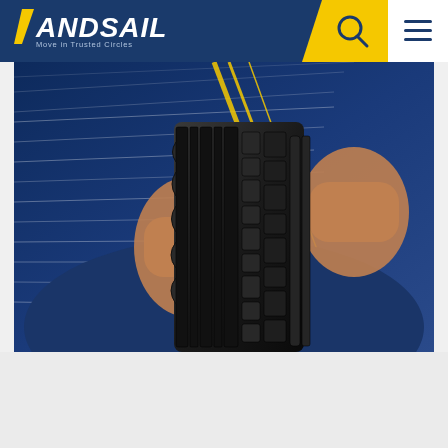LANDSAIL — Move in Trusted Circles
[Figure (photo): Close-up photo of a person's hands holding a Landsail tire, showing the tread pattern. Background shows blue streaks of light and yellow diagonal lines, suggesting motion and speed.]